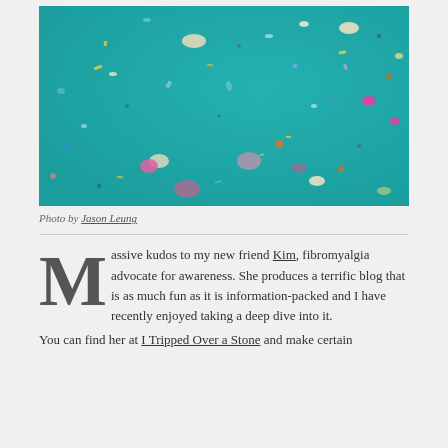[Figure (photo): Aerial or underwater teal/turquoise background with colorful scattered confetti-like shapes and dots (pink, yellow, white, orange, blue, purple) scattered across the frame.]
Photo by Jason Leung
Massive kudos to my new friend Kim, fibromyalgia advocate for awareness. She produces a terrific blog that is as much fun as it is information-packed and I have recently enjoyed taking a deep dive into it. You can find her at I Tripped Over a Stone and make certain